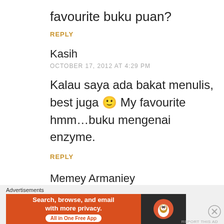favourite buku puan?
REPLY
Kasih
OCTOBER 17, 2012 AT 4:29 PM
Kalau saya ada bakat menulis, best juga 🙂 My favourite hmm…buku mengenai enzyme.
REPLY
Memey Armaniey
Advertisements
[Figure (other): DuckDuckGo advertisement banner: orange section with text 'Search, browse, and email with more privacy. All in One Free App' and dark section with DuckDuckGo duck logo]